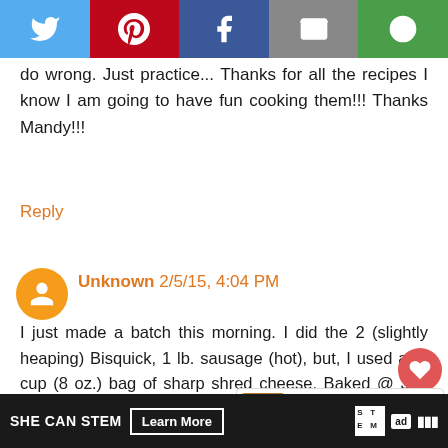[Figure (other): Social share bar with Twitter, Pinterest, Facebook, Email, and Copy link buttons]
do wrong. Just practice... Thanks for all the recipes I know I am going to have fun cooking them!!! Thanks Mandy!!!
Reply
Unknown 2/5/15, 4:04 PM
I just made a batch this morning. I did the 2 (slightly heaping) Bisquick, 1 lb. sausage (hot), but, I used a 2-cup (8 oz.) bag of sharp shred cheese. Baked @ 350 for right at 25 min. Turned out just fine.
I did the same thing just before Christmas and
SHE CAN STEM  Learn More